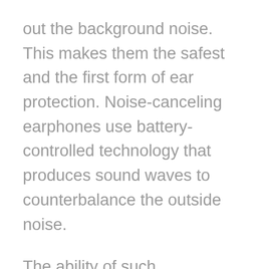out the background noise. This makes them the safest and the first form of ear protection. Noise-canceling earphones use battery-controlled technology that produces sound waves to counterbalance the outside noise.
The ability of such headphones to block ambient noise is both attractive and what makes them reliable. Such headphones are also usually impressive in the quality and range of sound reproduction.
They offer top-quality sound and numerous customization choices that allow you to take advantage of the experience. The adaptability